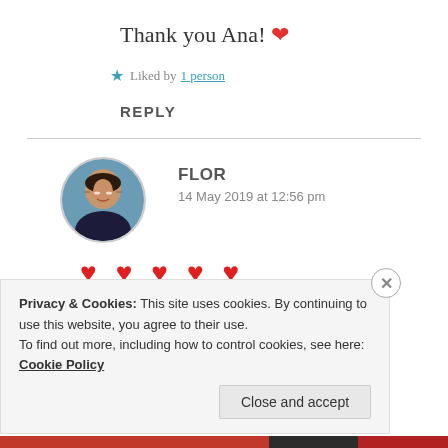Thank you Ana! ❤
★ Liked by 1 person
REPLY
[Figure (photo): Circular avatar photo of Flor, a woman smiling, wearing glasses and a dark top.]
FLOR
14 May 2019 at 12:56 pm
♥ ♥ ♥ ♥ ♥
Privacy & Cookies: This site uses cookies. By continuing to use this website, you agree to their use.
To find out more, including how to control cookies, see here: Cookie Policy
Close and accept